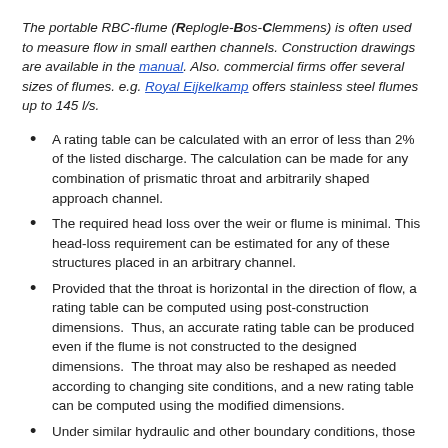The portable RBC-flume (Replogle-Bos-Clemmens) is often used to measure flow in small earthen channels. Construction drawings are available in the manual. Also. commercial firms offer several sizes of flumes. e.g. Royal Eijkelkamp offers stainless steel flumes up to 145 l/s.
A rating table can be calculated with an error of less than 2% of the listed discharge. The calculation can be made for any combination of prismatic throat and arbitrarily shaped approach channel.
The required head loss over the weir or flume is minimal. This head-loss requirement can be estimated for any of these structures placed in an arbitrary channel.
Provided that the throat is horizontal in the direction of flow, a rating table can be computed using post-construction dimensions.  Thus, an accurate rating table can be produced even if the flume is not constructed to the designed dimensions.  The throat may also be reshaped as needed according to changing site conditions, and a new rating table can be computed using the modified dimensions.
Under similar hydraulic and other boundary conditions, those